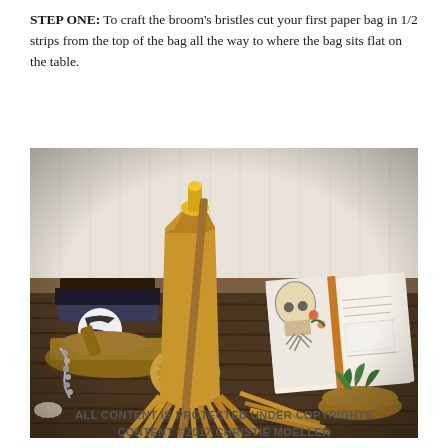STEP ONE: To craft the broom's bristles cut your first paper bag in 1/2 strips from the top of the bag all the way to where the bag sits flat on the table.
[Figure (photo): A brown paper bag with 1/2 inch strips cut from the top sitting on a dark wood table surrounded by craft supplies including twine, books, and decorative bowls.]
ALL CONTENT IS PROTECTED UNDER COPYRIGHTS CONTENT ©2017 CHRISTIE MOELLER